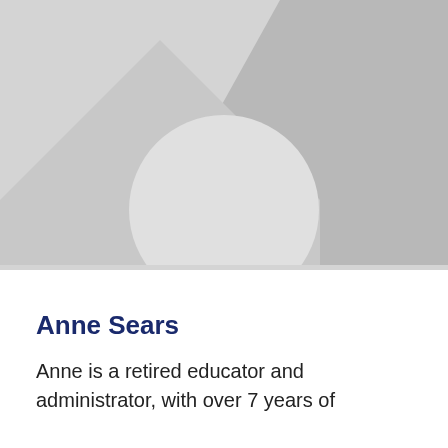[Figure (photo): Placeholder image with grey background showing mountain silhouette shapes and a circle representing a person portrait placeholder]
Anne Sears
Anne is a retired educator and administrator, with over 7 years of